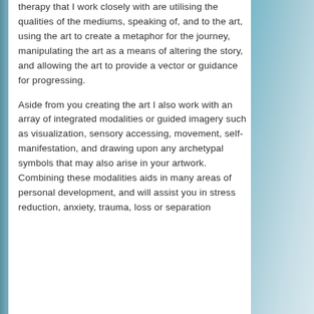therapy that I work closely with are utilising the qualities of the mediums, speaking of, and to the art, using the art to create a metaphor for the journey, manipulating the art as a means of altering the story, and allowing the art to provide a vector or guidance for progressing.

Aside from you creating the art I also work with an array of integrated modalities or guided imagery such as visualization, sensory accessing, movement, self- manifestation, and drawing upon any archetypal symbols that may also arise in your artwork. Combining these modalities aids in many areas of personal development, and will assist you in stress reduction, anxiety, trauma, loss or separation